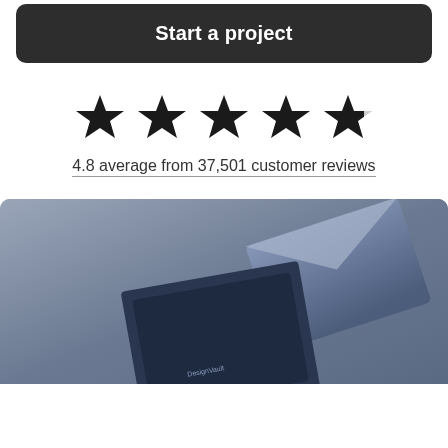Start a project
[Figure (infographic): Five black stars rating display, with the fifth star partially filled, showing a 4.8 out of 5 rating]
4.8 average from 37,501 customer reviews
[Figure (photo): A close-up photo of dark blue/navy stationery or branding materials on a grey-blue background, with a logo or text partially visible]